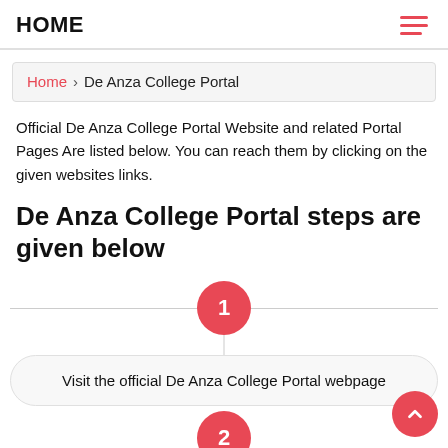HOME
Home › De Anza College Portal
Official De Anza College Portal Website and related Portal Pages Are listed below. You can reach them by clicking on the given websites links.
De Anza College Portal steps are given below
1. Visit the official De Anza College Portal webpage
2